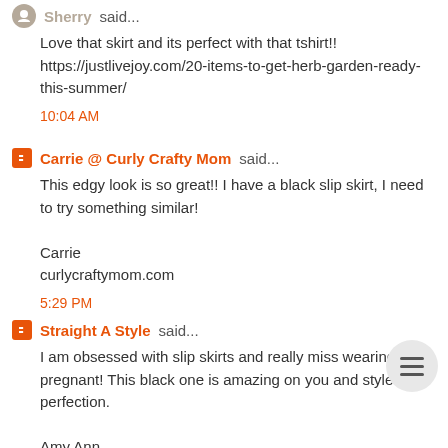Sherry said...
Love that skirt and its perfect with that tshirt!! https://justlivejoy.com/20-items-to-get-herb-garden-ready-this-summer/
10:04 AM
Carrie @ Curly Crafty Mom said...
This edgy look is so great!! I have a black slip skirt, I need to try something similar!

Carrie
curlycraftymom.com
5:29 PM
Straight A Style said...
I am obsessed with slip skirts and really miss wearing them pregnant! This black one is amazing on you and styled to perfection.

Amy Ann